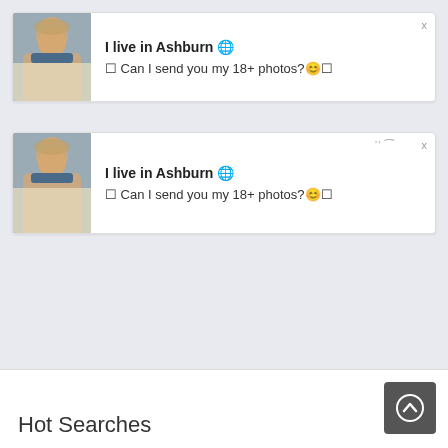[Figure (screenshot): Ad notification card 1: thumbnail of a woman in sunglasses/bikini on left, bold text 'I live in Ashburn' with globe emoji, subtext '[ Can I send you my 18+ photos? smiley ]', close X button top right]
[Figure (screenshot): Ad notification card 2 (duplicate): same thumbnail and text as card 1 with additional ellipsis dots decoration near top right]
Hot Searches